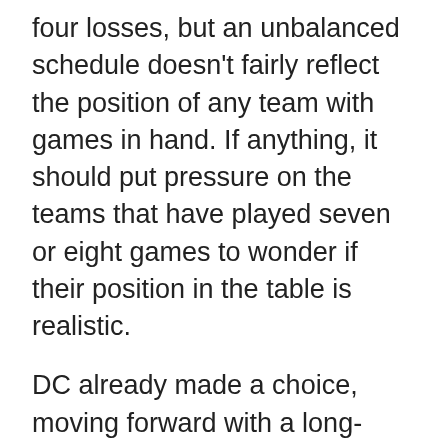four losses, but an unbalanced schedule doesn't fairly reflect the position of any team with games in hand. If anything, it should put pressure on the teams that have played seven or eight games to wonder if their position in the table is realistic.
DC already made a choice, moving forward with a long-serving coach who understands how the club's approach has changed. As so many other teams point out with player and personnel, there's innate value in experience in this league. That's beneficial while figuring out what comes next.
With so many teams in the league targeting the same thing, it's tough for any team to distinguish itself. We've seen that across